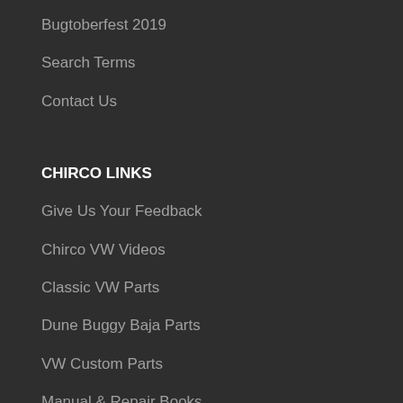Bugtoberfest 2019
Search Terms
Contact Us
CHIRCO LINKS
Give Us Your Feedback
Chirco VW Videos
Classic VW Parts
Dune Buggy Baja Parts
VW Custom Parts
Manual & Repair Books
Used VW Parts Original German
VW Speciality Tools